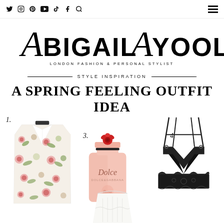Social media icons (Twitter, Instagram, Pinterest, YouTube, TikTok, Facebook, Search) and hamburger menu
[Figure (logo): Abigail Ayoola London Fashion & Personal Stylist logo in serif/italic black lettering]
STYLE INSPIRATION
A SPRING FEELING OUTFIT IDEA
[Figure (photo): Product flatlay: 1. Floral blazer (cream with pink/green roses), 3. Dolce perfume bottle (pink with red rose cap), 4. Black lace bralette with straps, 2. White crochet/knit top (partially visible at bottom)]